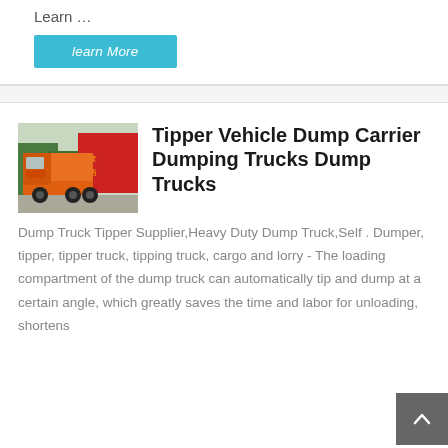Learn …
learn More
[Figure (photo): Orange heavy-duty dump truck / tipper vehicle parked in front of a red banner with Chinese text, trees visible in background]
Tipper Vehicle Dump Carrier Dumping Trucks Dump Trucks
Dump Truck Tipper Supplier,Heavy Duty Dump Truck,Self . Dumper, tipper, tipper truck, tipping truck, cargo and lorry - The loading compartment of the dump truck can automatically tip and dump at a certain angle, which greatly saves the time and labor for unloading, shortens